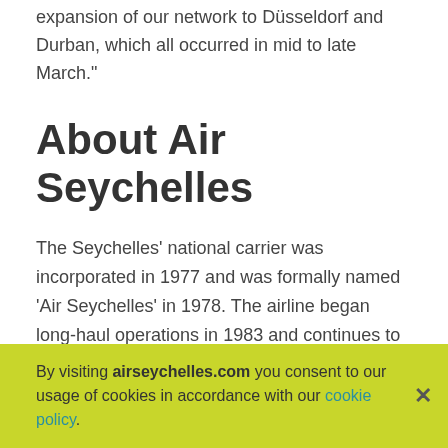expansion of our network to Düsseldorf and Durban, which all occurred in mid to late March."
About Air Seychelles
The Seychelles' national carrier was incorporated in 1977 and was formally named 'Air Seychelles' in 1978. The airline began long-haul operations in 1983 and continues to remain one of the tourism pillars contributing towards the island's strongest growing economic sector.
In 2021, Air Seychelles managed to retain the most coveted title of Indian Ocean's leading Airline at the
By visiting airseychelles.com you consent to our usage of cookies in accordance with our cookie policy.